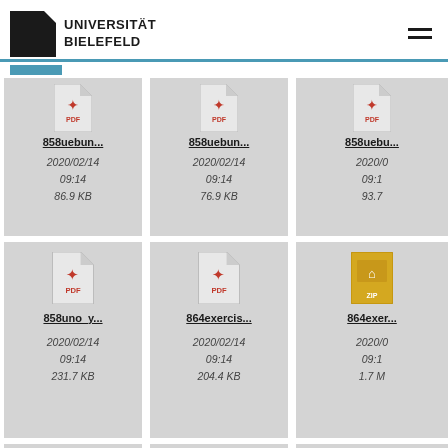UNIVERSITÄT BIELEFELD
[Figure (screenshot): File listing grid from Universität Bielefeld website showing PDF and ZIP file cards with filenames, dates, and sizes. Row 1: 858uebun... (2020/02/14 09:14, 86.9 KB), 858uebun... (2020/02/14 09:14, 76.9 KB), 858uebu... (2020/0 09:1, 93.7). Row 2: 858uno_y... (2020/02/14 09:14, 231.7 KB), 864exercis... (2020/02/14 09:14, 204.4 KB), 864exer... (2020/0 09:1, 1.7 M).]